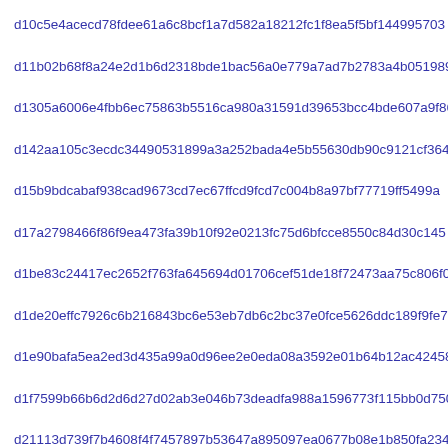d10c5e4acecd78fdee61a6c8bcf1a7d582a18212fc1f8ea5f5bf144995703
d11b02b68f8a24e2d1b6d2318bde1bac56a0e779a7ad7b2783a4b0519898e
d1305a6006e4fbb6ec75863b5516ca980a31591d39653bcc4bde607a9f869
d142aa105c3ecdc34490531899a3a252bada4e5b55630db90c9121cf364a7
d15b9bdcabaf938cad9673cd7ec67ffcd9fcd7c004b8a97bf77719ff5499a
d17a2798466f86f9ea473fa39b10f92e0213fc75d6bfcce8550c84d30c145
d1be83c24417ec2652f763fa645694d01706cef51de18f72473aa75c806f0
d1de20effc7926c6b216843bc6e53eb7db6c2bc37e0fce5626ddc189f9fe7
d1e90bafa5ea2ed3d435a99a0d96ee2e0eda08a3592e01b64b12ac42458fc
d1f7599b66b6d2d6d27d02ab3e046b73deadfa988a1596773f115bb0d750c
d21113d739f7b4608f4f7457897b53647a895097ea0677b08e1b850fa2342